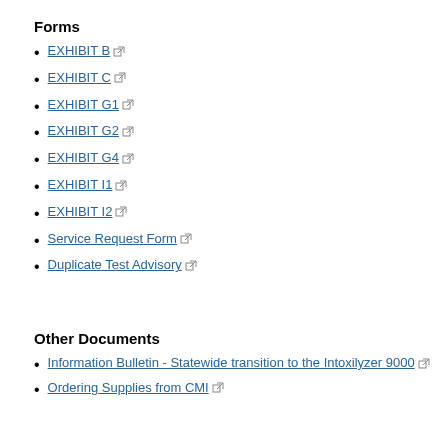Forms
EXHIBIT B
EXHIBIT C
EXHIBIT G1
EXHIBIT G2
EXHIBIT G4
EXHIBIT I1
EXHIBIT I2
Service Request Form
Duplicate Test Advisory
Other Documents
Information Bulletin - Statewide transition to the Intoxilyzer 9000
Ordering Supplies from CMI